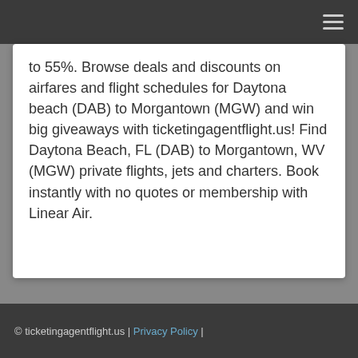≡
to 55%. Browse deals and discounts on airfares and flight schedules for Daytona beach (DAB) to Morgantown (MGW) and win big giveaways with ticketingagentflight.us! Find Daytona Beach, FL (DAB) to Morgantown, WV (MGW) private flights, jets and charters. Book instantly with no quotes or membership with Linear Air.
© ticketingagentflight.us | Privacy Policy |